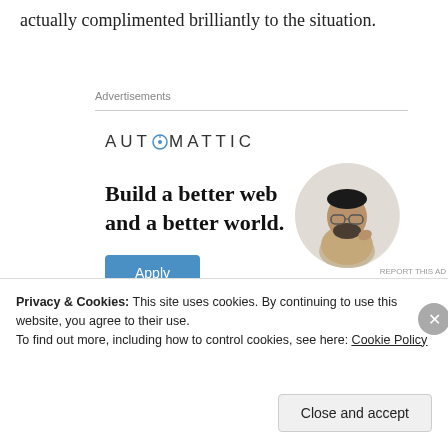actually complimented brilliantly to the situation.
Advertisements
[Figure (illustration): Automattic advertisement banner with logo, headline 'Build a better web and a better world.', Apply button, and circular photo of a person]
Privacy & Cookies: This site uses cookies. By continuing to use this website, you agree to their use.
To find out more, including how to control cookies, see here: Cookie Policy
Close and accept